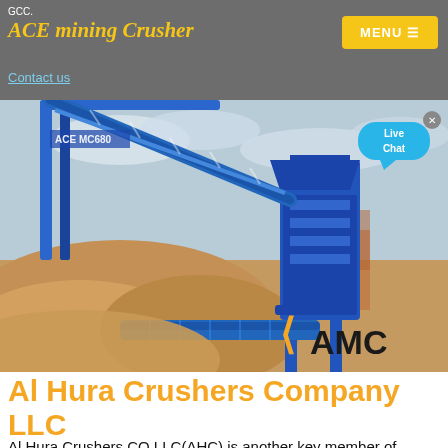GCC. ACE mining Crusher | Contact us | MENU
[Figure (photo): Mining crusher equipment (blue mobile screening/crushing plant with conveyor belt) with AMC logo in bottom right and Live Chat bubble overlay]
Al Hura Crushers Company LLC
Al Hura Crushers CO LLC(AHC) is another key member of